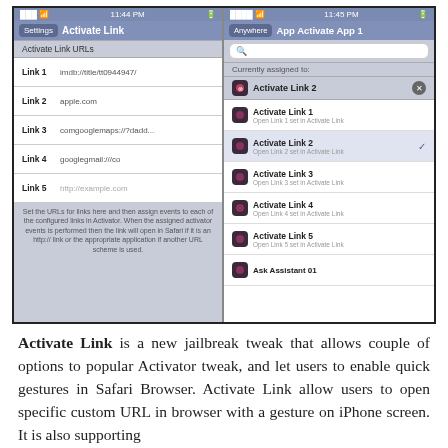[Figure (screenshot): Two iOS app screenshots side by side. Left: 'Activate Link' settings screen showing Activate Link URLs with Link 1 (imdb://title/tt0944947/), Link 2 (apple.com), Link 3 (comgooglemaps://?dadd...), Link 4 (googlegmail:///co), Link 5 (http://example.com placeholder), and explanatory footer text. Right: 'App Activate App 1' screen showing a search bar, 'Currently assigned to: Activate Link 2' with X button, then a list of Activate Link 1-5 options with Activate Link 2 checked.]
Activate Link is a new jailbreak tweak that allows couple of options to popular Activator tweak, and let users to enable quick gestures in Safari Browser. Activate Link allow users to open specific custom URL in browser with a gesture on iPhone screen. It is also supporting the iOS Custom URLs. Other supported...